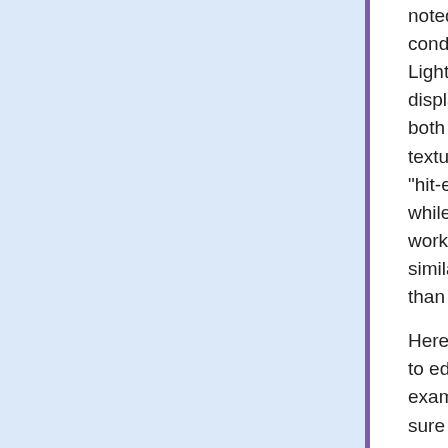noted that the Shock Rifle also does not display hit-effects under these conditions), I hacked up a workaround by utilizing the emitter from the Lightning Gun. Since the Lightning Gun emitter (NewLightningBolt) always displays a certain portion of the texture it uses (XEffects.LightningBoltT) at both the start and endpoints, I figured if I changed the emitter to utilize a texture with an "explosive" effect at the end I could get at least a nominal "hit-effect" to work when a player gets a dead-on hit on an enemy pawn while playing on a dedicated server. This wasn't an ideal solution but it does work. Someone who is more ambitious about this could probably try a similar approach and tweak the emitter to make a much nicer visual effect than I bothered with.
Here is the finished class for the HitScan portion of the weapon. If you'd like to edit or clean up this code, feel free to. It is provided as-is as a simple example of a working hitscan firemode with a splash damage effect; I'm sure someone who wanted to put more effort into it could do it much better.